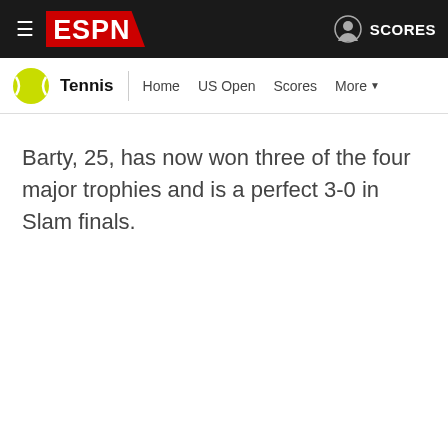ESPN - Tennis - Home US Open Scores More - SCORES
Barty, 25, has now won three of the four major trophies and is a perfect 3-0 in Slam finals.